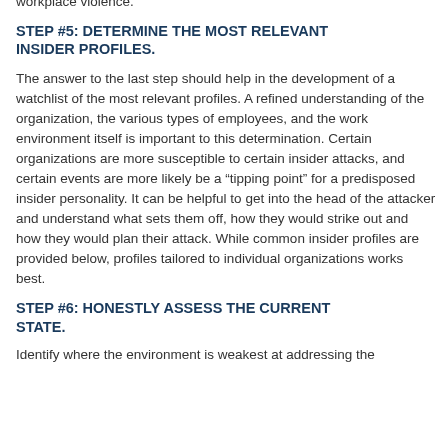workplace violence.
STEP #5:  DETERMINE THE MOST RELEVANT INSIDER PROFILES.
The answer to the last step should help in the development of a watchlist of the most relevant profiles. A refined understanding of the organization, the various types of employees, and the work environment itself is important to this determination. Certain organizations are more susceptible to certain insider attacks, and certain events are more likely be a “tipping point” for a predisposed insider personality. It can be helpful to get into the head of the attacker and understand what sets them off, how they would strike out and how they would plan their attack. While common insider profiles are provided below, profiles tailored to individual organizations works best.
STEP #6:  HONESTLY ASSESS THE CURRENT STATE.
Identify where the environment is weakest at addressing the